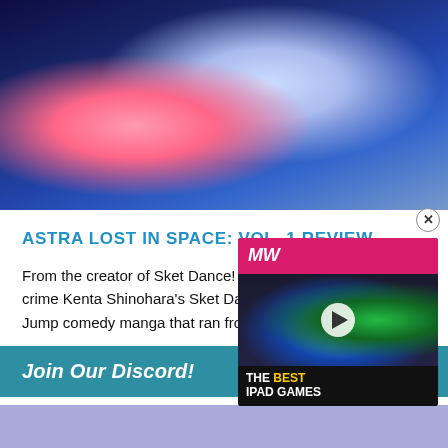[Figure (illustration): Anime-style illustration showing two characters in space suits — a pink-haired girl and a taller character — against a dark blue starry space background]
ASTRA LOST IN SPACE: VOL. 1 REVIEW
From the creator of Sket Dance! I consider it something of a crime Kenta Shinohara's Sket Dance, a Weekly Shonen Jump comedy manga that ran from 2007 to 2013,...
Join Our Discord!
[Figure (screenshot): Video advertisement overlay showing MW (Melt World) logo on pink bar, a play button over dark game imagery, with caption 'THE BEST IPAD GAMES']
[Figure (other): Purple/blue Discord embed widget area at bottom]